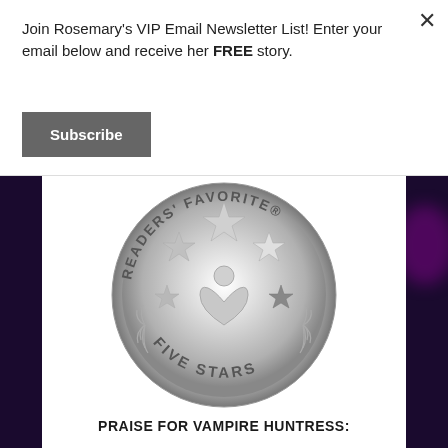Join Rosemary's VIP Email Newsletter List! Enter your email below and receive her FREE story.
Subscribe
[Figure (logo): Readers' Favorite Five Stars silver medallion badge/seal with stars and a heart-book logo]
PRAISE FOR VAMPIRE HUNTRESS: